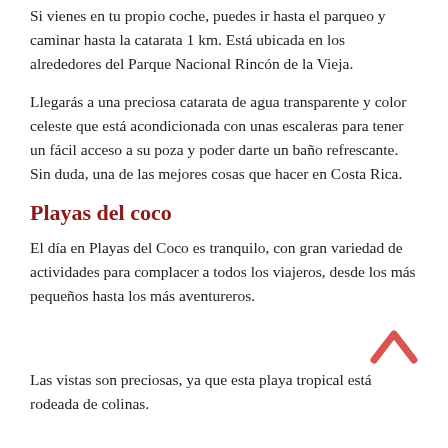Si vienes en tu propio coche, puedes ir hasta el parqueo y caminar hasta la catarata 1 km. Está ubicada en los alrededores del Parque Nacional Rincón de la Vieja.
Llegarás a una preciosa catarata de agua transparente y color celeste que está acondicionada con unas escaleras para tener un fácil acceso a su poza y poder darte un baño refrescante. Sin duda, una de las mejores cosas que hacer en Costa Rica.
Playas del coco
El día en Playas del Coco es tranquilo, con gran variedad de actividades para complacer a todos los viajeros, desde los más pequeños hasta los más aventureros.
[Figure (illustration): Back-to-top chevron arrow icon in salmon/pink color pointing upward]
Las vistas son preciosas, ya que esta playa tropical está rodeada de colinas.